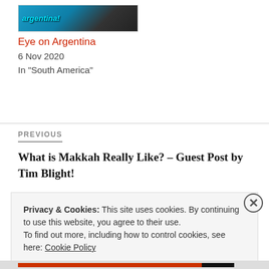[Figure (photo): Thumbnail image for Eye on Argentina blog post with cyan/teal text overlay on dark photo]
Eye on Argentina
6 Nov 2020
In "South America"
PREVIOUS
What is Makkah Really Like? – Guest Post by Tim Blight!
Privacy & Cookies: This site uses cookies. By continuing to use this website, you agree to their use.
To find out more, including how to control cookies, see here: Cookie Policy
Close and accept